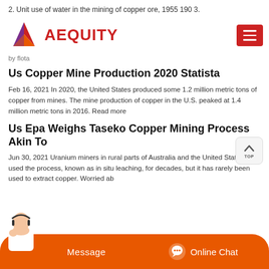2. Unit use of water in the mining of copper ore, 1955 190 3.
[Figure (logo): AEQUITY logo with geometric diamond shape in red, orange, purple and a hamburger menu button in red on the right]
by flota
Us Copper Mine Production 2020 Statista
Feb 16, 2021 In 2020, the United States produced some 1.2 million metric tons of copper from mines. The mine production of copper in the U.S. peaked at 1.4 million metric tons in 2016. Read more
Us Epa Weighs Taseko Copper Mining Process Akin To
Jun 30, 2021 Uranium miners in rural parts of Australia and the United States have used the process, known as in situ leaching, for decades, but it has rarely been used to extract copper. Worried ab... un...
[Figure (screenshot): Bottom orange bar with Message and Online Chat buttons and a customer service agent image]